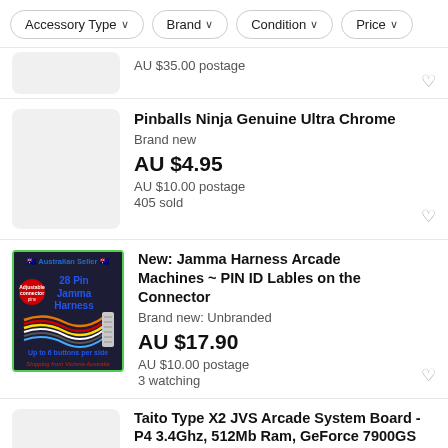Accessory Type   Brand   Condition   Price
AU $35.00 postage
Pinballs Ninja Genuine Ultra Chrome
Brand new
AU $4.95
AU $10.00 postage
405 sold
[Figure (photo): Product image for Jamma Harness with text: Australian Seller, 28 Pin Jamma Harness, Up to 6 buttons per side, Shipping from Victoria Australia]
New: Jamma Harness Arcade Machines ~ PIN ID Lables on the Connector
Brand new: Unbranded
AU $17.90
AU $10.00 postage
3 watching
Taito Type X2 JVS Arcade System Board - P4 3.4Ghz, 512Mb Ram, GeForce 7900GS